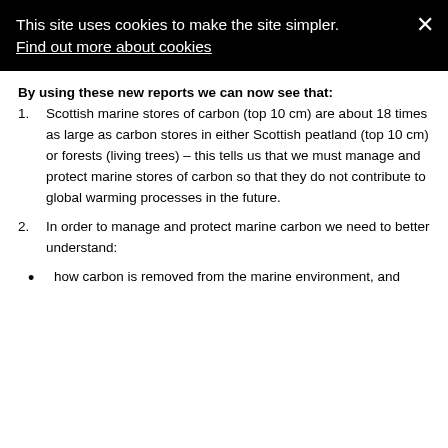This site uses cookies to make the site simpler. Find out more about cookies
By using these new reports we can now see that:
1. Scottish marine stores of carbon (top 10 cm) are about 18 times as large as carbon stores in either Scottish peatland (top 10 cm) or forests (living trees) – this tells us that we must manage and protect marine stores of carbon so that they do not contribute to global warming processes in the future.
2. In order to manage and protect marine carbon we need to better understand:
how carbon is removed from the marine environment, and